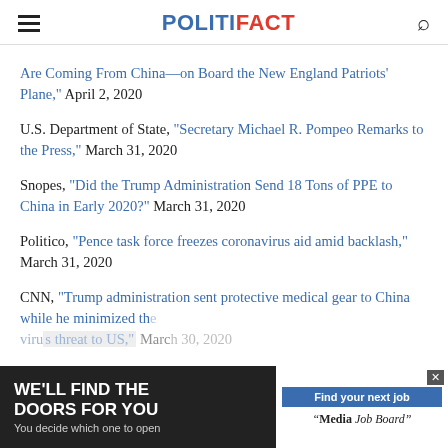POLITIFACT
Are Coming From China—on Board the New England Patriots' Plane," April 2, 2020
U.S. Department of State, "Secretary Michael R. Pompeo Remarks to the Press," March 31, 2020
Snopes, "Did the Trump Administration Send 18 Tons of PPE to China in Early 2020?" March 31, 2020
Politico, "Pence task force freezes coronavirus aid amid backlash," March 31, 2020
CNN, "Trump administration sent protective medical gear to China while he minimized the virus threat to US," March 30, 2020
The...